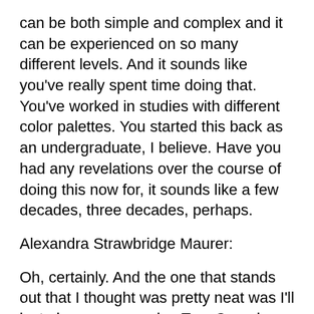can be both simple and complex and it can be experienced on so many different levels. And it sounds like you've really spent time doing that. You've worked in studies with different color palettes. You started this back as an undergraduate, I believe. Have you had any revelations over the course of doing this now for, it sounds like a few decades, three decades, perhaps.
Alexandra Strawbridge Maurer:
Oh, certainly. And the one that stands out that I thought was pretty neat was I'll just give one example.  Tom Curry is a pastel artist in Brooklyn, Maine, and I did some pastel, I guess you could call plein air workshops with